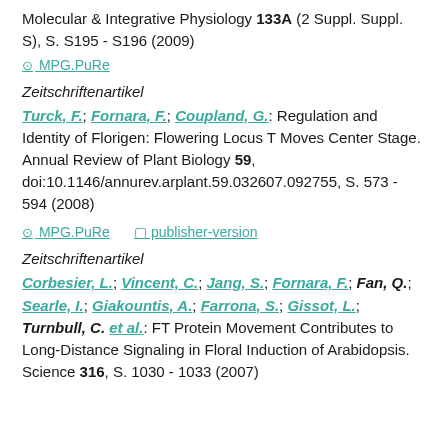Molecular & Integrative Physiology 133A (2 Suppl. Suppl. S), S. S195 - S196 (2009)
⊙ MPG.PuRe
Zeitschriftenartikel
Turck, F.; Fornara, F.; Coupland, G.: Regulation and Identity of Florigen: Flowering Locus T Moves Center Stage. Annual Review of Plant Biology 59, doi:10.1146/annurev.arplant.59.032607.092755, S. 573 - 594 (2008)
⊙ MPG.PuRe  □ publisher-version
Zeitschriftenartikel
Corbesier, L.; Vincent, C.; Jang, S.; Fornara, F.; Fan, Q.; Searle, I.; Giakountis, A.; Farrona, S.; Gissot, L.; Turnbull, C. et al.: FT Protein Movement Contributes to Long-Distance Signaling in Floral Induction of Arabidopsis. Science 316, S. 1030 - 1033 (2007)